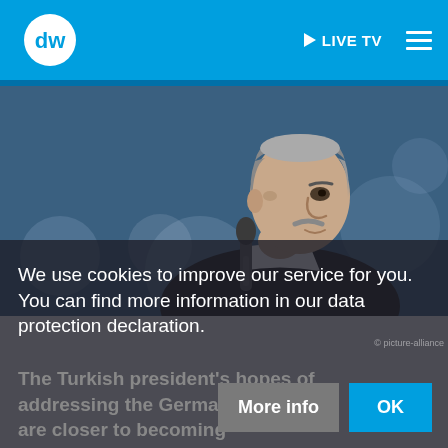[Figure (logo): DW (Deutsche Welle) logo — white circle with DW text in blue header bar]
▶ LIVE TV
[Figure (photo): Photo of Turkish president (Erdogan) speaking into a microphone at an outdoor event, side profile view, wearing dark suit, bokeh background]
We use cookies to improve our service for you. You can find more information in our data protection declaration.
The Turkish president's hopes of addressing the Germa community are closer to becoming
More info
OK